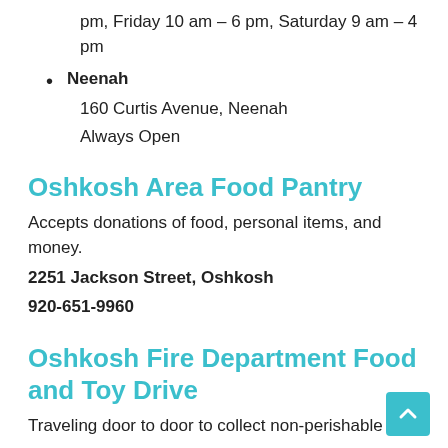pm, Friday 10 am – 6 pm, Saturday 9 am – 4 pm
Neenah
160 Curtis Avenue, Neenah
Always Open
Oshkosh Area Food Pantry
Accepts donations of food, personal items, and money.
2251 Jackson Street, Oshkosh
920-651-9960
Oshkosh Fire Department Food and Toy Drive
Traveling door to door to collect non-perishable food items, personal care items, and if necessary